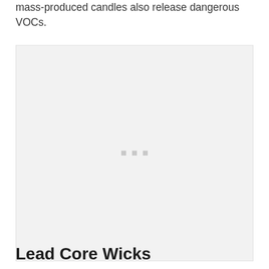mass-produced candles also release dangerous VOCs.
[Figure (photo): Large image placeholder with three small grey dots in the center, shown against a light grey background with border.]
Lead Core Wicks